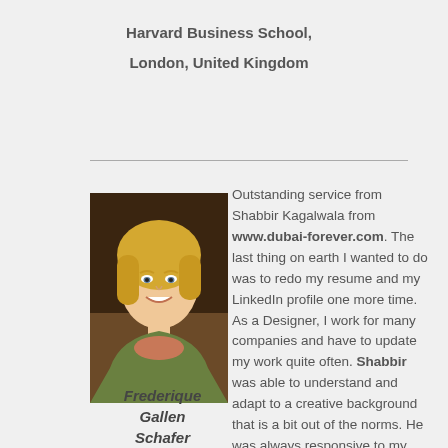Harvard Business School,
London, United Kingdom
[Figure (photo): Headshot of Frederique Gallen Schafer, a blonde woman smiling]
Frederique Gallen Schafer
Outstanding service from Shabbir Kagalwala from www.dubai-forever.com. The last thing on earth I wanted to do was to redo my resume and my LinkedIn profile one more time. As a Designer, I work for many companies and have to update my work quite often. Shabbir was able to understand and adapt to a creative background that is a bit out of the norms. He was always responsive to my questions and now, my LinkedIn profile is fabulous. I was not